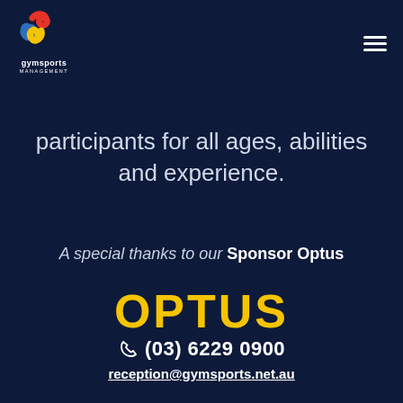[Figure (logo): Gymsports Management logo with colorful swirl icon and text]
participants for all ages, abilities and experience.
A special thanks to our Sponsor Optus
OPTUS
(03) 6229 0900
reception@gymsports.net.au